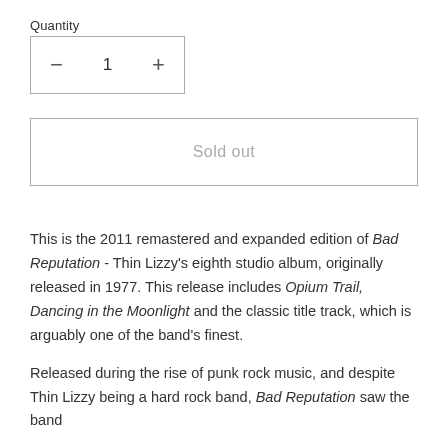Quantity
- 1 +
Sold out
This is the 2011 remastered and expanded edition of Bad Reputation - Thin Lizzy's eighth studio album, originally released in 1977. This release includes Opium Trail, Dancing in the Moonlight and the classic title track, which is arguably one of the band's finest.
Released during the rise of punk rock music, and despite Thin Lizzy being a hard rock band, Bad Reputation saw the band